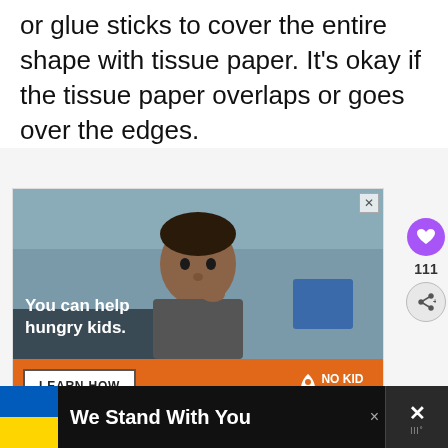or glue sticks to cover the entire shape with tissue paper. It's okay if the tissue paper overlaps or goes over the edges.
[Figure (photo): Advertisement for No Kid Hungry showing a young boy in a classroom with text 'You can help hungry kids.' and a 'LEARN HOW' button on an orange bar with the No Kid Hungry logo.]
WHAT'S NEXT → Bunny Tissue Paper...
[Figure (infographic): Bottom banner advertisement showing Ukraine flag colors (blue and yellow) with text 'We Stand With You' on a dark background.]